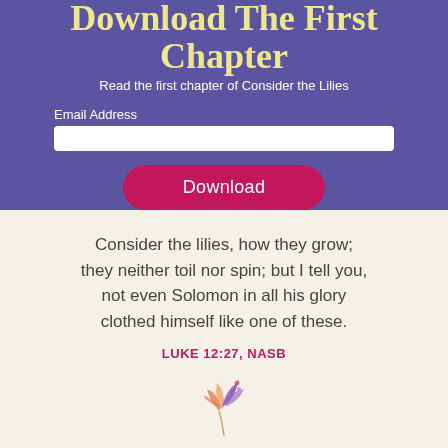Download The First Chapter
Read the first chapter of Consider the Lilies
Email Address
Download
Consider the lilies, how they grow; they neither toil nor spin; but I tell you, not even Solomon in all his glory clothed himself like one of these.
LUKE 12:27, NASB
[Figure (illustration): Watercolor-style illustration of a purple and orange flower/lily plant]